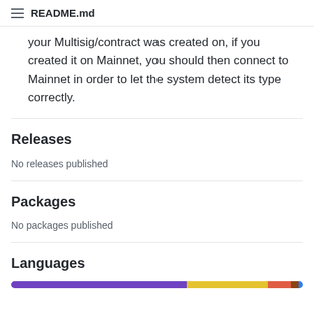README.md
your Multisig/contract was created on, if you created it on Mainnet, you should then connect to Mainnet in order to let the system detect its type correctly.
Releases
No releases published
Packages
No packages published
Languages
[Figure (infographic): Horizontal stacked language bar showing proportions: purple (large), yellow (medium), red (small), brown (very small), blue (very small)]